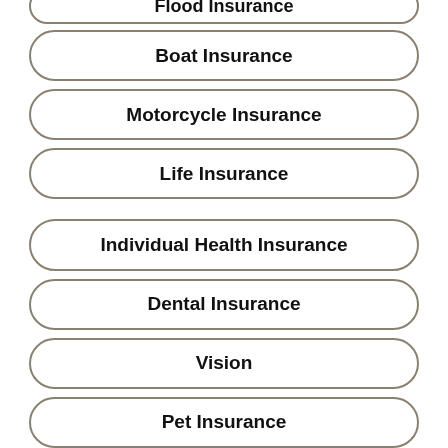Flood Insurance
Boat Insurance
Motorcycle Insurance
Life Insurance
Individual Health Insurance
Dental Insurance
Vision
Pet Insurance